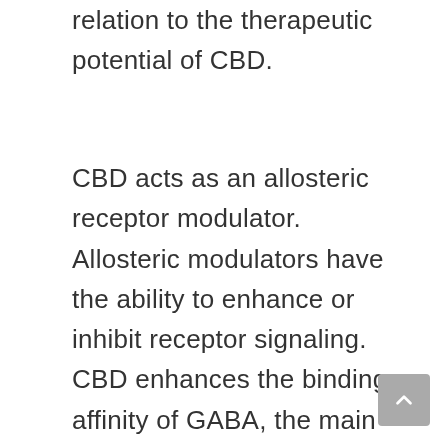relation to the therapeutic potential of CBD.
CBD acts as an allosteric receptor modulator. Allosteric modulators have the ability to enhance or inhibit receptor signaling. CBD enhances the binding affinity of GABA, the main inhibitory neurotransmitter in the mammalian central nervous system. Moreover, GABA receptor transmission is the main mechanism